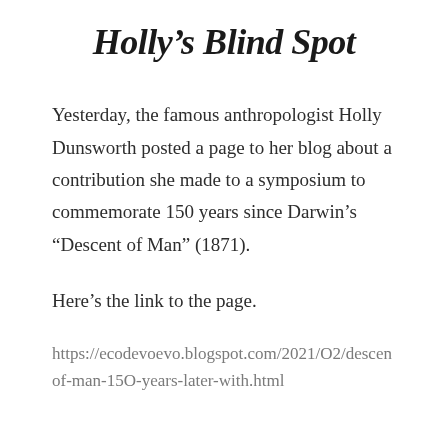Holly's Blind Spot
Yesterday, the famous anthropologist Holly Dunsworth posted a page to her blog about a contribution she made to a symposium to commemorate 150 years since Darwin's “Descent of Man” (1871).
Here's the link to the page.
https://ecodevoevo.blogspot.com/2021/02/descent-of-man-150-years-later-with.html